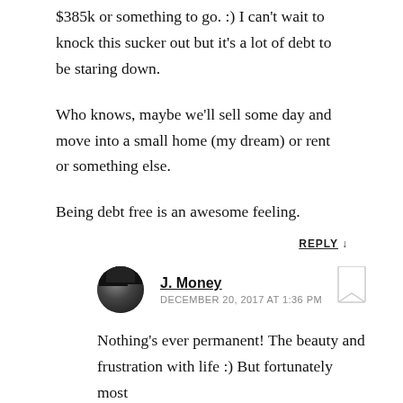$385k or something to go. :) I can't wait to knock this sucker out but it's a lot of debt to be staring down.
Who knows, maybe we'll sell some day and move into a small home (my dream) or rent or something else.
Being debt free is an awesome feeling.
REPLY ↓
J. Money
DECEMBER 20, 2017 AT 1:36 PM
Nothing's ever permanent! The beauty and frustration with life :) But fortunately most